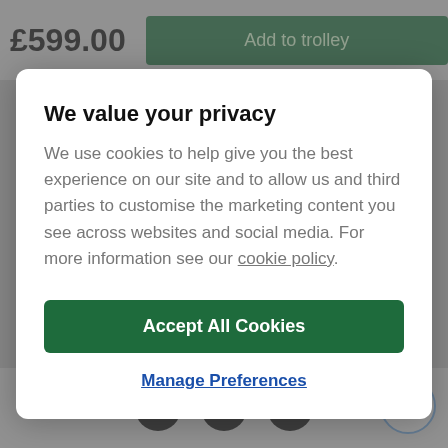£599.00
Add to trolley
We value your privacy
We use cookies to help give you the best experience on our site and to allow us and third parties to customise the marketing content you see across websites and social media. For more information see our cookie policy.
Accept All Cookies
Manage Preferences